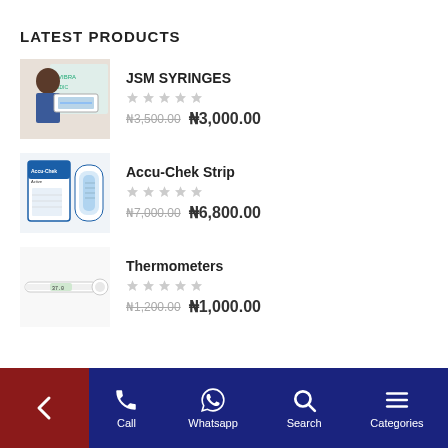LATEST PRODUCTS
[Figure (photo): Healthcare worker in blue vest holding syringes, standing in front of a sign]
JSM SYRINGES
₦3,500.00 ₦3,000.00
[Figure (photo): Accu-Chek test strip product box and container]
Accu-Chek Strip
₦7,000.00 ₦6,800.00
[Figure (photo): White digital thermometer]
Thermometers
₦1,200.00 ₦1,000.00
← Call  Whatsapp  Search  Categories